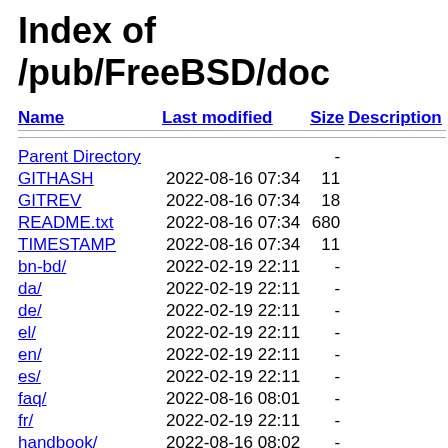Index of /pub/FreeBSD/doc
| Name | Last modified | Size | Description |
| --- | --- | --- | --- |
| Parent Directory |  | - |  |
| GITHASH | 2022-08-16 07:34 | 11 |  |
| GITREV | 2022-08-16 07:34 | 18 |  |
| README.txt | 2022-08-16 07:34 | 680 |  |
| TIMESTAMP | 2022-08-16 07:34 | 11 |  |
| bn-bd/ | 2022-02-19 22:11 | - |  |
| da/ | 2022-02-19 22:11 | - |  |
| de/ | 2022-02-19 22:11 | - |  |
| el/ | 2022-02-19 22:11 | - |  |
| en/ | 2022-02-19 22:11 | - |  |
| es/ | 2022-02-19 22:11 | - |  |
| faq/ | 2022-08-16 08:01 | - |  |
| fr/ | 2022-02-19 22:11 | - |  |
| handbook/ | 2022-08-16 08:02 | - |  |
| hu/ | 2022-02-19 22:11 | - |  |